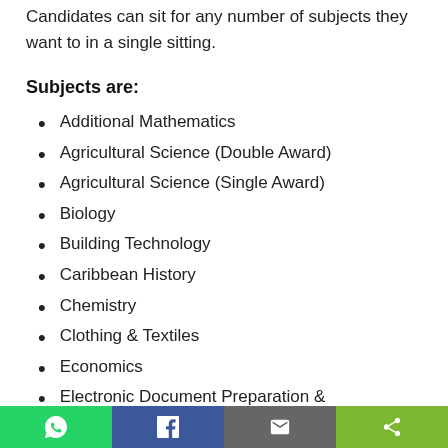Candidates can sit for any number of subjects they want to in a single sitting.
Subjects are:
Additional Mathematics
Agricultural Science (Double Award)
Agricultural Science (Single Award)
Biology
Building Technology
Caribbean History
Chemistry
Clothing & Textiles
Economics
Electronic Document Preparation & Management